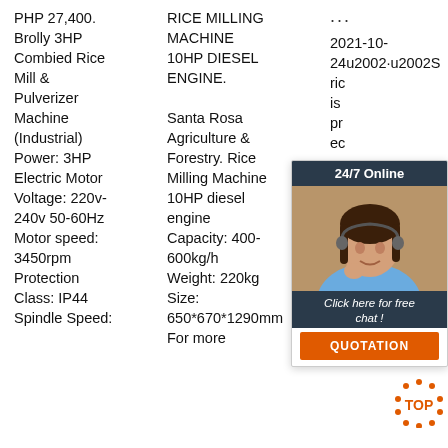PHP 27,400. Brolly 3HP Combied Rice Mill & Pulverizer Machine (Industrial) Power: 3HP Electric Motor Voltage: 220v-240v 50-60Hz Motor speed: 3450rpm Protection Class: IP44 Spindle Speed:
RICE MILLING MACHINE 10HP DIESEL ENGINE. Santa Rosa Agriculture & Forestry. Rice Milling Machine 10HP diesel engine Capacity: 400-600kg/h Weight: 220kg Size: 650*670*1290mm For more
··· 2021-10-24u2002·u2002S rice is process ec pa pr co m process paddy into national standard rice just in one process. Paddy
[Figure (other): 24/7 Online chat widget with customer service agent photo, 'Click here for free chat!' text, and orange QUOTATION button]
[Figure (other): Orange TOP button with dotted circle border]